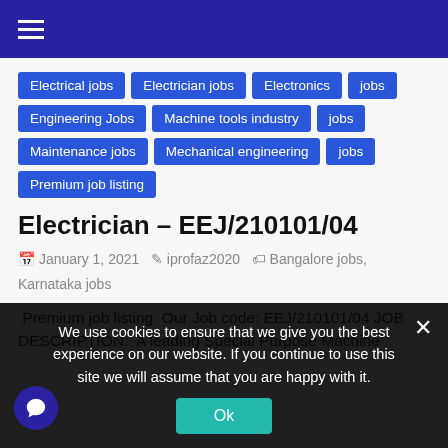Navigation bar with hamburger menu
Electrical jobs
Electrician jobs
Electronics jobs
Engineering Jobs
Machine tools industry jobs
Maintenance jobs
Mechanical engineering jobs
Premium job listing
Electrician – EEJ/210101/04
January 1, 2021  iprofaz2020  Bangalore jobs, Karnataka jobs
Premium job listing  Our Job code: EEJ/210101/04 JOB DESCRIPTION:  A leading Special Purpose Machine
We use cookies to ensure that we give you the best experience on our website. If you continue to use this site we will assume that you are happy with it.